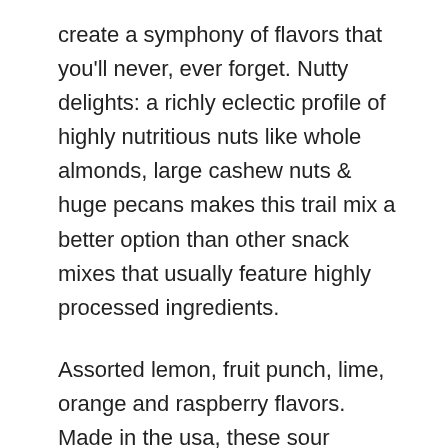create a symphony of flavors that you'll never, ever forget. Nutty delights: a richly eclectic profile of highly nutritious nuts like whole almonds, large cashew nuts & huge pecans makes this trail mix a better option than other snack mixes that usually feature highly processed ingredients.
Assorted lemon, fruit punch, lime, orange and raspberry flavors. Made in the usa, these sour gummies get their colors only from natural sources! Authentic michigan cherries: original cherry Salsa from Cherry Republic uses authentic & handpicked northern Michigan cherries that are curated & seasoned with love; An all-American endeavor.
Black forest organics is the home of America's first